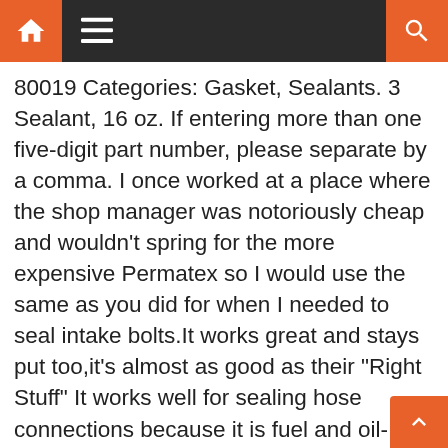Navigation bar with home, menu, and search icons
80019 Categories: Gasket, Sealants. 3 Sealant, 16 oz. If entering more than one five-digit part number, please separate by a comma. I once worked at a place where the shop manager was notoriously cheap and wouldn't spring for the more expensive Permatex so I would use the same as you did for when I needed to seal intake bolts.It works great and stays put too,it's almost as good as their "Right Stuff" It works well for sealing hose connections because it is fuel and oil-resistant. Permatex Hi-Temp Rtv Silicone Gasket Maker 3.35 Oz. Gasoline, oil and grease resistant, it has a temperature range of -65 degrees fahrenheit to 400 degrees fahrenheit. If entering more than one five-digit part number, please separate by a comma. We'll assume you're ok with this, but you can opt-out if … Description Additional information